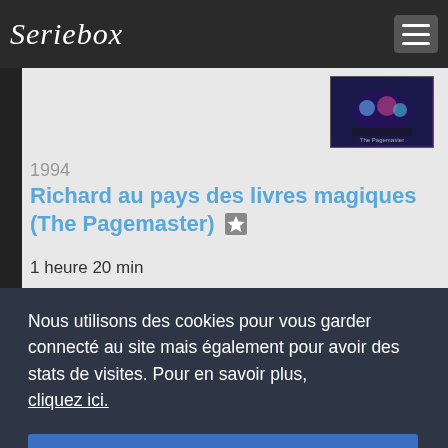Seriebox
[Figure (photo): Movie poster thumbnail in top right corner showing colorful animated characters on dark background]
1994
Richard au pays des livres magiques (The Pagemaster)
1 heure 20 min
Nous utilisons des cookies pour vous garder connecté au site mais également pour avoir des stats de visites. Pour en savoir plus, cliquez ici.
OK
[Figure (photo): Bottom movie thumbnail showing USS ALABAMA text]